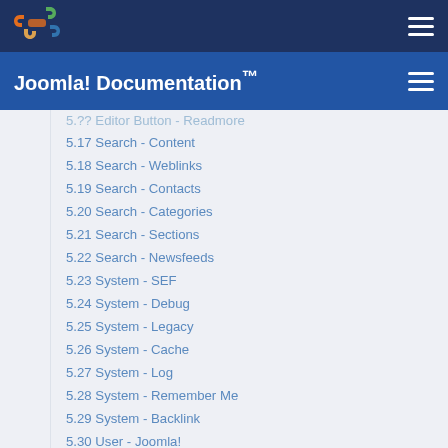Joomla! Documentation™
5.17 Search - Content
5.18 Search - Weblinks
5.19 Search - Contacts
5.20 Search - Categories
5.21 Search - Sections
5.22 Search - Newsfeeds
5.23 System - SEF
5.24 System - Debug
5.25 System - Legacy
5.26 System - Cache
5.27 System - Log
5.28 System - Remember Me
5.29 System - Backlink
5.30 User - Joomla!
5.31 XML-RPC - Joomla
5.32 XML-RPC - Blogger API